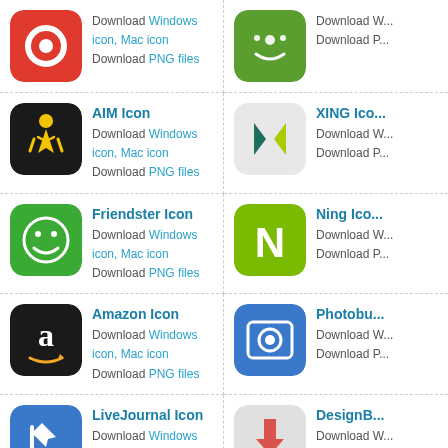[Figure (logo): Red icon with white eye/circle symbol (top-left, partial row)]
Download Windows icon, Mac icon
Download PNG files
[Figure (logo): Green smiley face icon (top-right, partial row)]
Download W...
Download P...
[Figure (logo): AIM Icon - black background with yellow running figure]
AIM Icon
Download Windows icon, Mac icon
Download PNG files
[Figure (logo): XING Icon - light gray background with teal/green X logo]
XING Ico...
Download W...
Download P...
[Figure (logo): Friendster Icon - green background with white smiley face]
Friendster Icon
Download Windows icon, Mac icon
Download PNG files
[Figure (logo): Ning Icon - green background with white N]
Ning Ico...
Download W...
Download P...
[Figure (logo): Amazon Icon - black background with white 'a' and arrow]
Amazon Icon
Download Windows icon, Mac icon
Download PNG files
[Figure (logo): Photobucket Icon - blue background with camera/circle symbol]
Photobu...
Download W...
Download P...
[Figure (logo): LiveJournal Icon - blue background with pencil]
LiveJournal Icon
Download Windows icon, Mac icon
Download PNG files
[Figure (logo): DesignBump Icon - light gray background with red up arrow and teal house arrow]
DesignB...
Download W...
Download P...
[Figure (logo): Viddler Icon - blue background with film camera/video icon]
Viddler Icon
Download Windows icon, Mac icon
Download PNG files
[Figure (logo): Email Icon - green background with white envelope]
Email Ico...
Download W...
Download P...
[Figure (logo): reddit Icon - orange background with white alien mascot]
reddit Icon
Download Windows icon, Mac icon
[Figure (logo): Plurk Icon - orange/red background with white square logo]
Plurk Ico...
Download W...